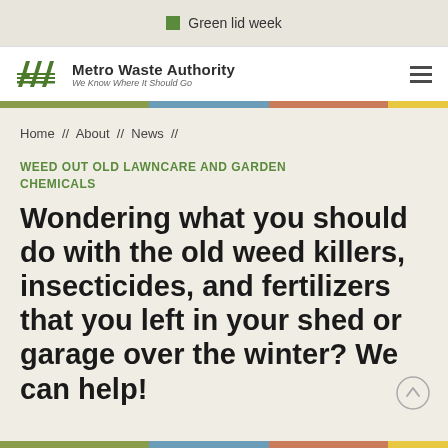Green lid week
[Figure (logo): Metro Waste Authority logo with tagline 'We Know Where It Should Go']
Home // About // News //
WEED OUT OLD LAWNCARE AND GARDEN CHEMICALS
Wondering what you should do with the old weed killers, insecticides, and fertilizers that you left in your shed or garage over the winter? We can help!